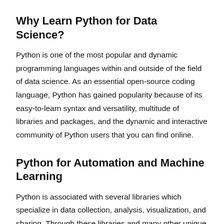Why Learn Python for Data Science?
Python is one of the most popular and dynamic programming languages within and outside of the field of data science. As an essential open-source coding language, Python has gained popularity because of its easy-to-learn syntax and versatility, multitude of libraries and packages, and the dynamic and interactive community of Python users that you can find online.
Python for Automation and Machine Learning
Python is associated with several libraries which specialize in data collection, analysis, visualization, and sharing. Through these libraries and many other unique features, Python is an excellent programming language to learn for Data Scientists who want to